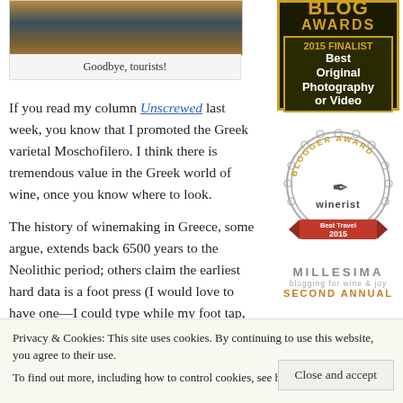[Figure (photo): Photo of scenery — Goodbye, tourists! image at top of article]
Goodbye, tourists!
If you read my column Unscrewed last week, you know that I promoted the Greek varietal Moschofilero. I think there is tremendous value in the Greek world of wine, once you know where to look.
The history of winemaking in Greece, some argue, extends back 6500 years to the Neolithic period; others claim the earliest hard data is a foot press (I would love to have one—I could type while my foot tap,
[Figure (logo): Blog Awards 2015 Finalist Best Original Photography or Video badge]
[Figure (logo): Winerist Blogger Award Best Travel 2015 badge]
[Figure (logo): Millesima Second Annual blogging award logo]
Privacy & Cookies: This site uses cookies. By continuing to use this website, you agree to their use.
To find out more, including how to control cookies, see here: Cookie Policy
Close and accept